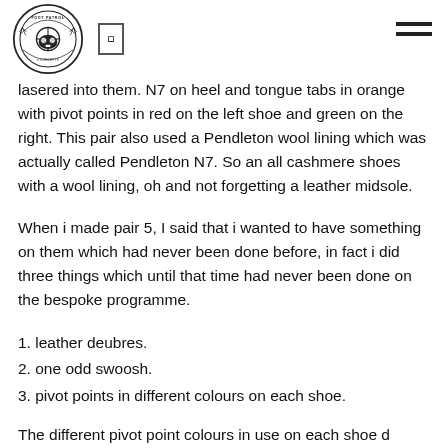[Figure (logo): Foot Patrol circular logo with gas mask illustration and banner text]
lasered into them. N7 on heel and tongue tabs in orange with pivot points in red on the left shoe and green on the right. This pair also used a Pendleton wool lining which was actually called Pendleton N7. So an all cashmere shoes with a wool lining, oh and not forgetting a leather midsole.
When i made pair 5, I said that i wanted to have something on them which had never been done before, in fact i did three things which until that time had never been done on the bespoke programme.
1. leather deubres.
2. one odd swoosh.
3. pivot points in different colours on each shoe.
The different pivot point colours in use on each shoe d...